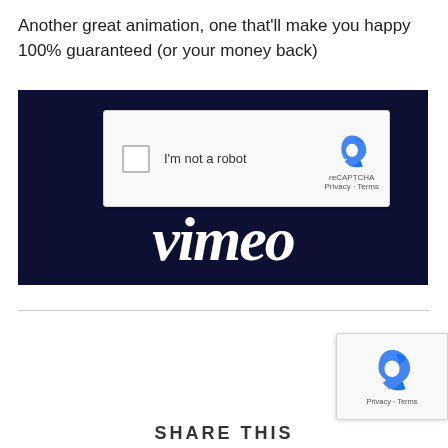Another great animation, one that'll make you happy 100% guaranteed (or your money back)
[Figure (screenshot): A Vimeo player page showing a reCAPTCHA 'I'm not a robot' checkbox widget overlaid on a dark navy background with the Vimeo logo in white italic script text]
[Figure (screenshot): A reCAPTCHA widget in the bottom-right corner showing the reCAPTCHA logo and 'Privacy - Terms' links]
SHARE THIS